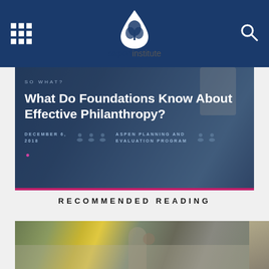aspeninstitute
[Figure (photo): Hero image with dark blue overlay showing text about a philanthropy article titled 'What Do Foundations Know About Effective Philanthropy?' dated December 6, 2018, by Aspen Planning and Evaluation Program]
RECOMMENDED READING
[Figure (photo): A woman raising her hand at a conference or lecture hall, viewed from behind, with audience in the background]